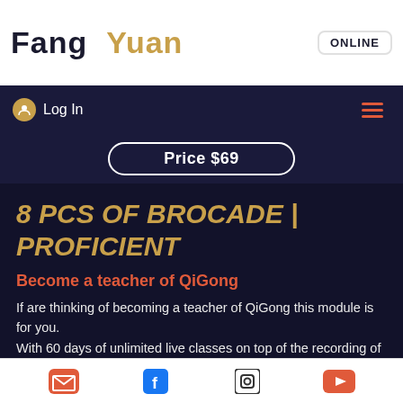Fang Yuan ONLINE
Log In
Price $69
8 PCS OF BROCADE | PROFICIENT
Become a teacher of QiGong
If are thinking of becoming a teacher of QiGong this module is for you. With 60 days of unlimited live classes on top of the recording of previous classes you can take your practice to the next level. We have included 3 private 1 on 1 lessons with Master Bing so we can offer you feedback
Email | Facebook | Instagram | YouTube